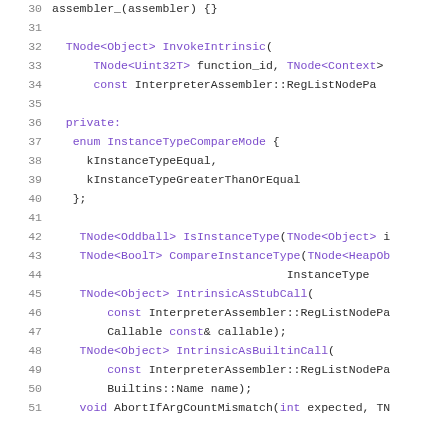[Figure (screenshot): Source code listing (C++) showing lines 30-51 of a header file. Line numbers in gray on left. Code uses monospace font with purple/violet colored identifiers and keywords on white background. Shows class members including InvokeIntrinsic, private section with InstanceTypeCompareMode enum, IsInstanceType, CompareInstanceType, IntrinsicAsStubCall, IntrinsicAsBuiltinCall, and AbortIfArgCountMismatch methods.]